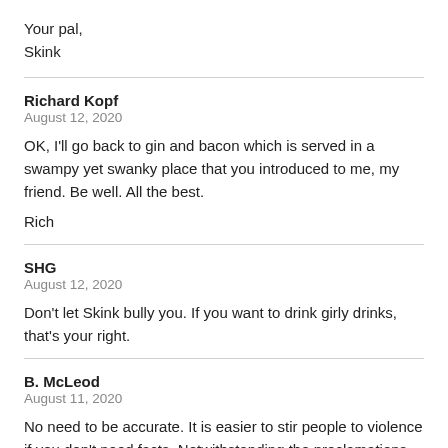Your pal,
Skink
Richard Kopf
August 12, 2020
OK, I'll go back to gin and bacon which is served in a swampy yet swanky place that you introduced to me, my friend. Be well. All the best.
Rich
SHG
August 12, 2020
Don't let Skink bully you. If you want to drink girly drinks, that's your right.
B. McLeod
August 11, 2020
No need to be accurate. It is easier to stir people to violence if you don't need facts. Notwithstanding the proclamations from certain quarters that the riots have